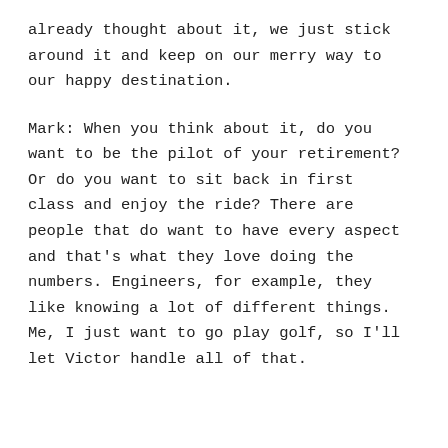already thought about it, we just stick around it and keep on our merry way to our happy destination.
Mark: When you think about it, do you want to be the pilot of your retirement? Or do you want to sit back in first class and enjoy the ride? There are people that do want to have every aspect and that's what they love doing the numbers. Engineers, for example, they like knowing a lot of different things. Me, I just want to go play golf, so I'll let Victor handle all of that.